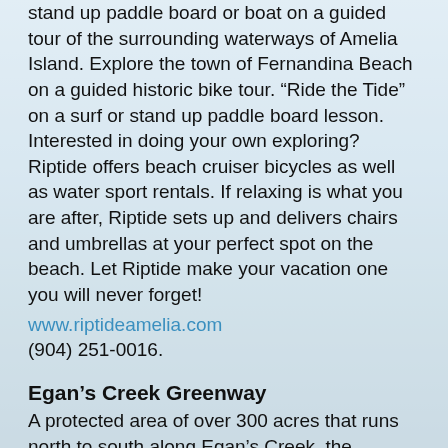stand up paddle board or boat on a guided tour of the surrounding waterways of Amelia Island. Explore the town of Fernandina Beach on a guided historic bike tour. “Ride the Tide” on a surf or stand up paddle board lesson. Interested in doing your own exploring? Riptide offers beach cruiser bicycles as well as water sport rentals. If relaxing is what you are after, Riptide sets up and delivers chairs and umbrellas at your perfect spot on the beach. Let Riptide make your vacation one you will never forget!
www.riptideamelia.com
(904) 251-0016.
Egan’s Creek Greenway
A protected area of over 300 acres that runs north to south along Egan’s Creek, the Greenway was opened for public use in the summer of 2000 as an undeveloped park for passive recreational use
Its grass-covered roads serve as a network of trails that are suitable for walking and bicycling, and its